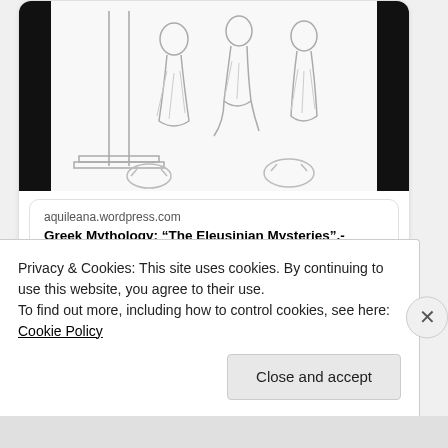[Figure (illustration): Pencil sketch illustration showing classical Greek figures in robes, partially visible at the top of the tweet card.]
aquileana.wordpress.com
Greek Mythology: “The Eleusinian Mysteries”.-
1:41 AM · Aug 1, 2014
1  Reply  Copy link
Explore what’s happening on Twitter
Privacy & Cookies: This site uses cookies. By continuing to use this website, you agree to their use.
To find out more, including how to control cookies, see here: Cookie Policy
Close and accept